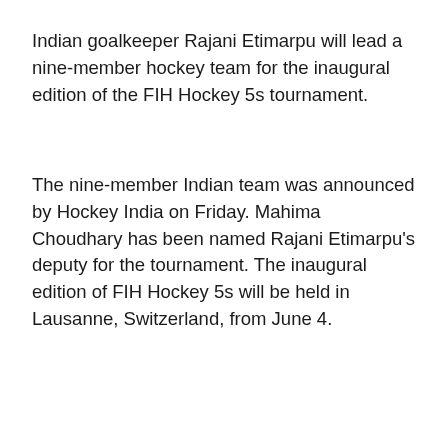Indian goalkeeper Rajani Etimarpu will lead a nine-member hockey team for the inaugural edition of the FIH Hockey 5s tournament.
The nine-member Indian team was announced by Hockey India on Friday. Mahima Choudhary has been named Rajani Etimarpu’s deputy for the tournament. The inaugural edition of FIH Hockey 5s will be held in Lausanne, Switzerland, from June 4.